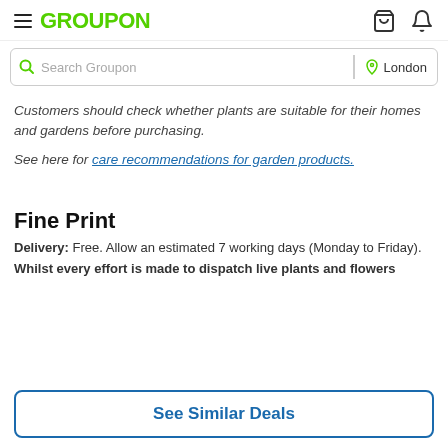GROUPON
Customers should check whether plants are suitable for their homes and gardens before purchasing.
See here for care recommendations for garden products.
Fine Print
Delivery: Free. Allow an estimated 7 working days (Monday to Friday).
Whilst every effort is made to dispatch live plants and flowers
See Similar Deals